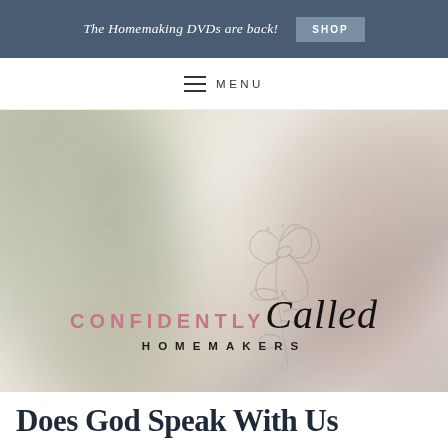The Homemaking DVDs are back! SHOP
≡ MENU
[Figure (logo): Confidently Called Homemakers logo with floral illustration on a soft blurred background]
Does God Speak With Us